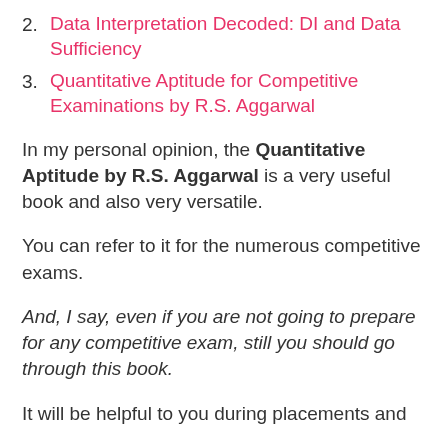2. Data Interpretation Decoded: DI and Data Sufficiency
3. Quantitative Aptitude for Competitive Examinations by R.S. Aggarwal
In my personal opinion, the Quantitative Aptitude by R.S. Aggarwal is a very useful book and also very versatile.
You can refer to it for the numerous competitive exams.
And, I say, even if you are not going to prepare for any competitive exam, still you should go through this book.
It will be helpful to you during placements and